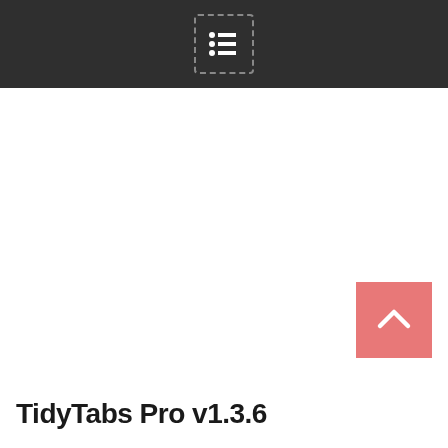[Figure (other): Back to top button — a salmon/coral pink square with a white upward-pointing chevron arrow]
TidyTabs Pro v1.3.6